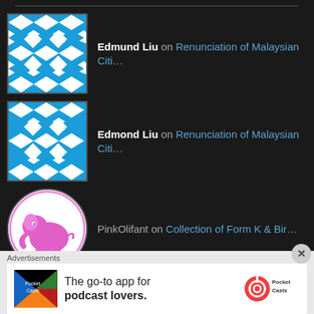Edmund Liu on Renunciation of Malaysian Citi...
Edmond Liu on Renunciation of Malaysian Citi...
PinkOlifant on Collection of Form K & Bir...
Vanitha on Collection of Form K & Bir...
PinkOlifant on Collection of Form K & Bir...
ARCHIVES
Advertisements
[Figure (infographic): Pocket Casts advertisement: The go-to app for podcast lovers.]